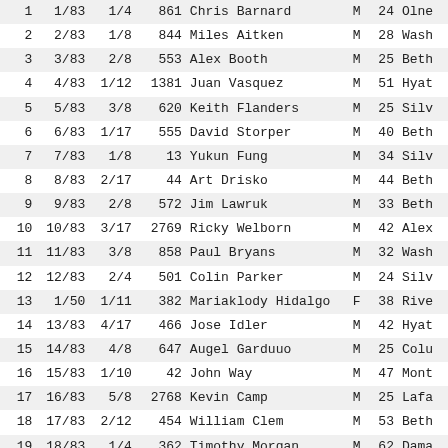| # | Frac1 | Frac2 | ID | Name | Sex | Age | City |
| --- | --- | --- | --- | --- | --- | --- | --- |
| 1 | 1/83 | 1/4 | 861 | Chris Barnard | M | 24 | Olne |
| 2 | 2/83 | 1/8 | 844 | Miles Aitken | M | 28 | Wash |
| 3 | 3/83 | 2/8 | 553 | Alex Booth | M | 25 | Beth |
| 4 | 4/83 | 1/12 | 1381 | Juan Vasquez | M | 51 | Hyat |
| 5 | 5/83 | 3/8 | 620 | Keith Flanders | M | 25 | Silv |
| 6 | 6/83 | 1/17 | 555 | David Storper | M | 40 | Beth |
| 7 | 7/83 | 1/8 | 13 | Yukun Fung | M | 34 | Silv |
| 8 | 8/83 | 2/17 | 44 | Art Drisko | M | 44 | Beth |
| 9 | 9/83 | 2/8 | 572 | Jim Lawruk | M | 33 | Beth |
| 10 | 10/83 | 3/17 | 2769 | Ricky Welborn | M | 42 | Alex |
| 11 | 11/83 | 3/8 | 858 | Paul Bryans | M | 32 | Wash |
| 12 | 12/83 | 2/4 | 501 | Colin Parker | M | 24 | Silv |
| 13 | 1/50 | 1/11 | 382 | Mariaklody Hidalgo | F | 38 | Rive |
| 14 | 13/83 | 4/17 | 466 | Jose Idler | M | 42 | Hyat |
| 15 | 14/83 | 4/8 | 647 | Augel Garduuo | M | 25 | Colu |
| 16 | 15/83 | 1/10 | 42 | John Way | M | 47 | Mont |
| 17 | 16/83 | 5/8 | 2768 | Kevin Camp | M | 25 | Lafa |
| 18 | 17/83 | 2/12 | 454 | William Clem | M | 53 | Beth |
| 19 | 18/83 | 1/4 | 362 | Timothy Morgan | M | 62 | Dama |
| 20 | 19/83 | 5/17 | 270 | Eric Manco | M | 42 | Silv |
| 21 | 20/83 | 6/17 | 1132 | Joel Carrier | M | 42 | Germ |
| 22 | 21/83 | 7/17 | 833 | Chris Gellasch | M | 43 | Rock |
| 23 | 22/83 | 8/17 | 765 | Michael Hagan | M | 40 | Wood |
| 24 | 23/83 | 4/8 | 2769 | John Gentl... | M | 44 | Silv |